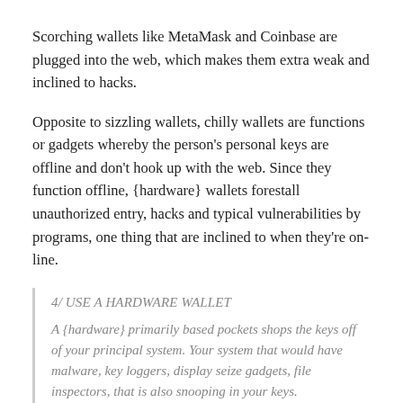Scorching wallets like MetaMask and Coinbase are plugged into the web, which makes them extra weak and inclined to hacks.
Opposite to sizzling wallets, chilly wallets are functions or gadgets whereby the person's personal keys are offline and don't hook up with the web. Since they function offline, {hardware} wallets forestall unauthorized entry, hacks and typical vulnerabilities by programs, one thing that are inclined to when they're on-line.
4/ USE A HARDWARE WALLET
A {hardware} primarily based pockets shops the keys off of your principal system. Your system that would have malware, key loggers, display seize gadgets, file inspectors, that is also snooping in your keys.